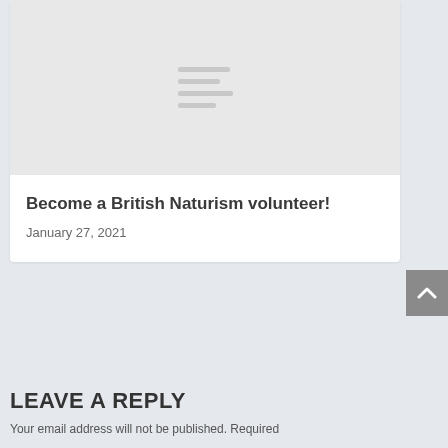[Figure (illustration): Placeholder image with gray background and horizontal lines in center, part of a blog post card.]
Become a British Naturism volunteer!
January 27, 2021
LEAVE A REPLY
Your email address will not be published. Required